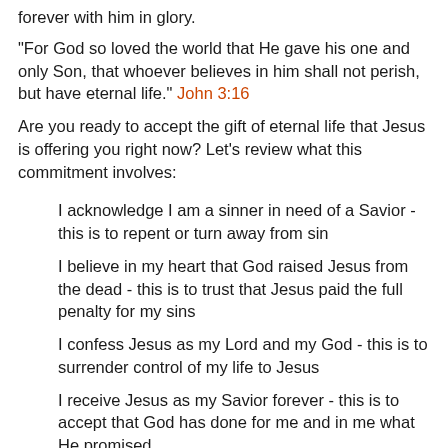forever with him in glory.
"For God so loved the world that He gave his one and only Son, that whoever believes in him shall not perish, but have eternal life." John 3:16
Are you ready to accept the gift of eternal life that Jesus is offering you right now? Let's review what this commitment involves:
I acknowledge I am a sinner in need of a Savior - this is to repent or turn away from sin
I believe in my heart that God raised Jesus from the dead - this is to trust that Jesus paid the full penalty for my sins
I confess Jesus as my Lord and my God - this is to surrender control of my life to Jesus
I receive Jesus as my Savior forever - this is to accept that God has done for me and in me what He promised
If it is your sincere desire to receive Jesus into your heart as your personal Lord and Savior, then talk to God from your